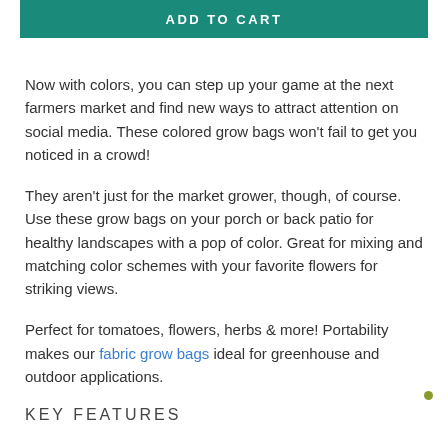ADD TO CART
Now with colors, you can step up your game at the next farmers market and find new ways to attract attention on social media. These colored grow bags won't fail to get you noticed in a crowd!
They aren't just for the market grower, though, of course. Use these grow bags on your porch or back patio for healthy landscapes with a pop of color. Great for mixing and matching color schemes with your favorite flowers for striking views.
Perfect for tomatoes, flowers, herbs & more! Portability makes our fabric grow bags ideal for greenhouse and outdoor applications.
KEY FEATURES